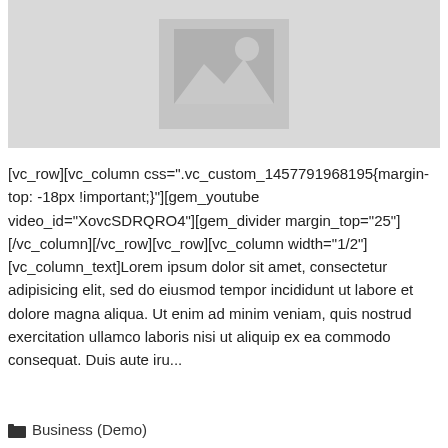[Figure (illustration): Gray image placeholder with a landscape/image icon in the center]
[vc_row][vc_column css=".vc_custom_1457791968195{margin-top: -18px !important;}"][gem_youtube video_id="XovcSDRQRO4"][gem_divider margin_top="25"][/vc_column][/vc_row][vc_row][vc_column width="1/2"][vc_column_text]Lorem ipsum dolor sit amet, consectetur adipisicing elit, sed do eiusmod tempor incididunt ut labore et dolore magna aliqua. Ut enim ad minim veniam, quis nostrud exercitation ullamco laboris nisi ut aliquip ex ea commodo consequat. Duis aute iru...
Business (Demo)